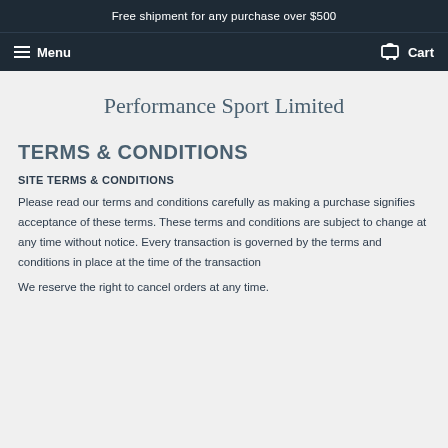Free shipment for any purchase over $500
Menu  Cart
Performance Sport Limited
TERMS & CONDITIONS
SITE TERMS & CONDITIONS
Please read our terms and conditions carefully as making a purchase signifies acceptance of these terms. These terms and conditions are subject to change at any time without notice. Every transaction is governed by the terms and conditions in place at the time of the transaction
We reserve the right to cancel orders at any time.